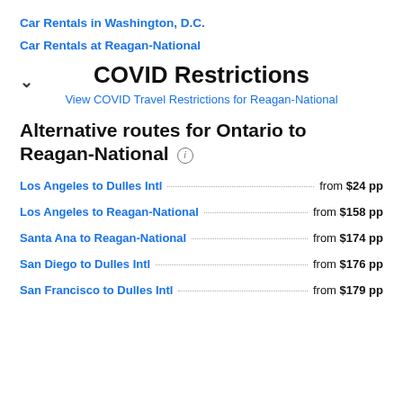Car Rentals in Washington, D.C.
Car Rentals at Reagan-National
COVID Restrictions
View COVID Travel Restrictions for Reagan-National
Alternative routes for Ontario to Reagan-National
Los Angeles to Dulles Intl  from $24 pp
Los Angeles to Reagan-National  from $158 pp
Santa Ana to Reagan-National  from $174 pp
San Diego to Dulles Intl  from $176 pp
San Francisco to Dulles Intl  from $179 pp